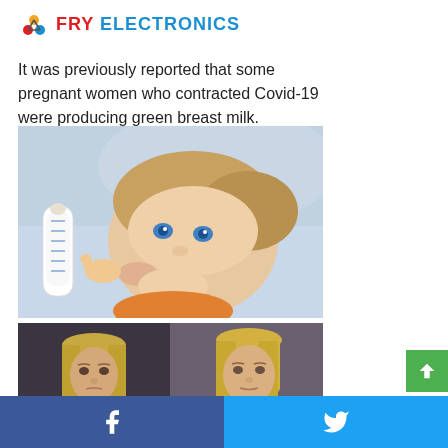FRY ELECTRONICS
It was previously reported that some pregnant women who contracted Covid-19 were producing green breast milk.
[Figure (photo): Close-up photo of a baby with blue eyes drinking from a white baby bottle, wearing an orange outfit]
[Figure (photo): Two side-by-side photos of blonde women, left woman with serious expression against dark background, right woman facing slightly right]
Facebook share | Twitter share buttons